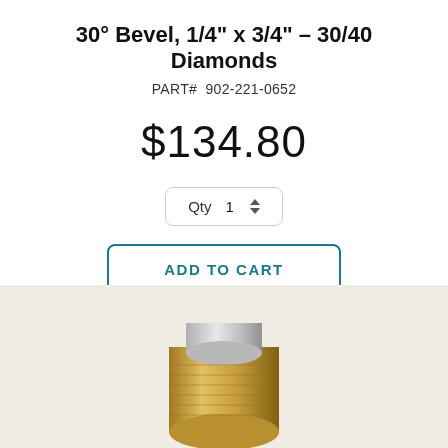30° Bevel, 1/4" x 3/4" – 30/40 Diamonds
PART# 902-221-0652
$134.80
Qty 1
ADD TO CART
[Figure (photo): Product photo of a diamond bevel tool on a beige/cream background, partially visible at bottom of page]